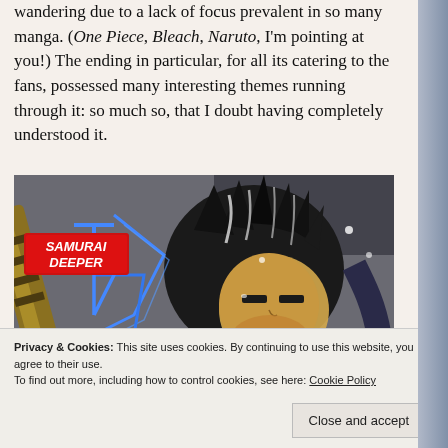wandering due to a lack of focus prevalent in so many manga. (One Piece, Bleach, Naruto, I'm pointing at you!)  The ending in particular, for all its catering to the fans, possessed many interesting themes running through it: so much so, that I doubt having completely understood it.
[Figure (illustration): Manga cover art for 'Samurai Deeper' showing a dark-haired male character with spiky hair and intense eyes holding a katana, with a red badge logo reading 'SAMURAI DEEPER' in the top left corner.]
Privacy & Cookies: This site uses cookies. By continuing to use this website, you agree to their use. To find out more, including how to control cookies, see here: Cookie Policy